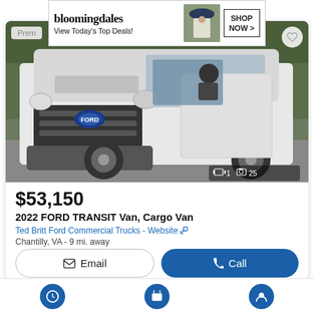[Figure (screenshot): Bloomingdale's advertisement banner: 'View Today's Top Deals!' with SHOP NOW > button and woman in hat graphic]
[Figure (photo): 2022 Ford Transit Cargo Van, white, front 3/4 view, parked on gravel with trees in background. Image counter shows 1 video and 25 photos.]
Prem
$53,150
2022 FORD TRANSIT Van, Cargo Van
Ted Britt Ford Commercial Trucks - Website
Chantilly, VA - 9 mi. away
Email
Call
Video chat with this dealer